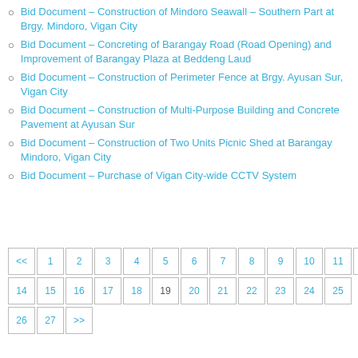Bid Document – Construction of Mindoro Seawall – Southern Part at Brgy. Mindoro, Vigan City
Bid Document – Concreting of Barangay Road (Road Opening) and Improvement of Barangay Plaza at Beddeng Laud
Bid Document – Construction of Perimeter Fence at Brgy. Ayusan Sur, Vigan City
Bid Document – Construction of Multi-Purpose Building and Concrete Pavement at Ayusan Sur
Bid Document – Construction of Two Units Picnic Shed at Barangay Mindoro, Vigan City
Bid Document – Purchase of Vigan City-wide CCTV System
| << | 1 | 2 | 3 | 4 | 5 | 6 | 7 | 8 | 9 | 10 | 11 | 12 | 13 |
| 14 | 15 | 16 | 17 | 18 | 19 | 20 | 21 | 22 | 23 | 24 | 25 |
| 26 | 27 | >> |